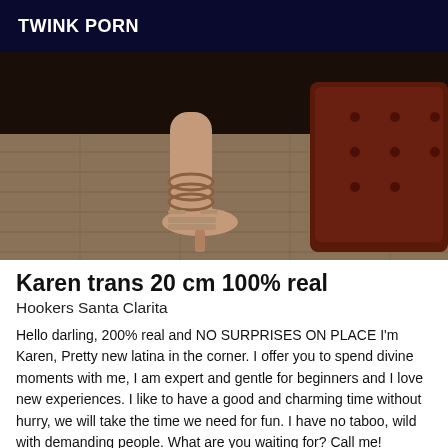TWINK PORN
[Figure (photo): Close-up photo of a foot/ankle wearing high-heeled sandals with rope/chain tie, resting on a wooden floor beside a dark red leather sofa.]
Karen trans 20 cm 100% real
Hookers Santa Clarita
Hello darling, 200% real and NO SURPRISES ON PLACE I'm Karen, Pretty new latina in the corner. I offer you to spend divine moments with me, I am expert and gentle for beginners and I love new experiences. I like to have a good and charming time without hurry, we will take the time we need for fun. I have no taboo, wild with demanding people. What are you waiting for? Call me!